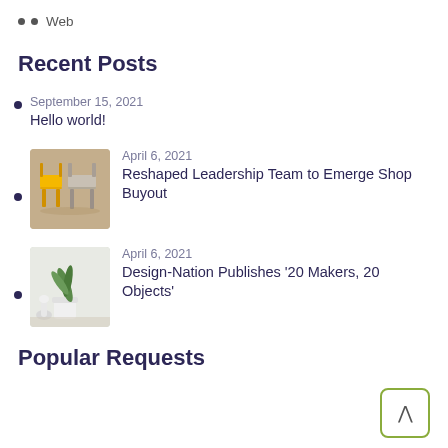• Web
Recent Posts
September 15, 2021
Hello world!
April 6, 2021
Reshaped Leadership Team to Emerge Shop Buyout
April 6, 2021
Design-Nation Publishes '20 Makers, 20 Objects'
Popular Requests